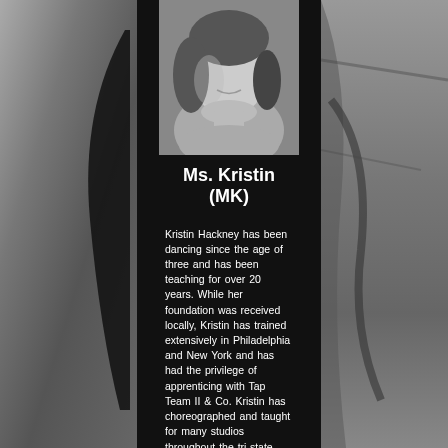[Figure (photo): Black and white photo of Ms. Kristin (MK), a woman with dark hair, smiling slightly, set against a dark background in the center panel]
Ms. Kristin (MK)
Kristin Hackney has been dancing since the age of three and has been teaching for over 20 years. While her foundation was received locally, Kristin has trained extensively in Philadelphia and New York and has had the privilege of apprenticing with Tap Team II & Co. Kristin has choreographed and taught for many studios throughout the tri-state area and has showcased her work at Walt Disney World. In addition, Kristin has